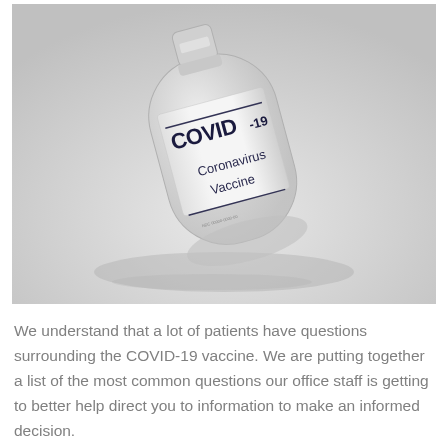[Figure (photo): A glass vial labeled 'COVID-19 Coronavirus Vaccine' lying on a white surface, photographed at an angle.]
We understand that a lot of patients have questions surrounding the COVID-19 vaccine. We are putting together a list of the most common questions our office staff is getting to better help direct you to information to make an informed decision.